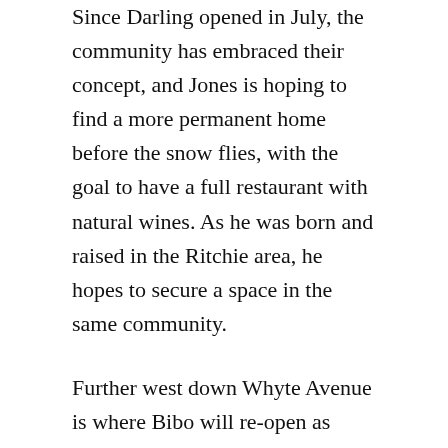Since Darling opened in July, the community has embraced their concept, and Jones is hoping to find a more permanent home before the snow flies, with the goal to have a full restaurant with natural wines. As he was born and raised in the Ritchie area, he hopes to secure a space in the same community.
Further west down Whyte Avenue is where Bibo will re-open as early as October (Bibo's Mill Creek location closed back in 2016). Owner Brad Lazarenko was approached by Beljan Development, developers of the Oliver Exchange Building which houses his Culina To Go location. They wanted him to resurrect Bibo in the lobby of the Old Strathcona Hotel. “We’re working on the concept together,” said Lazarenko. “They have a vision for an atrium lobby bar, with very open, high